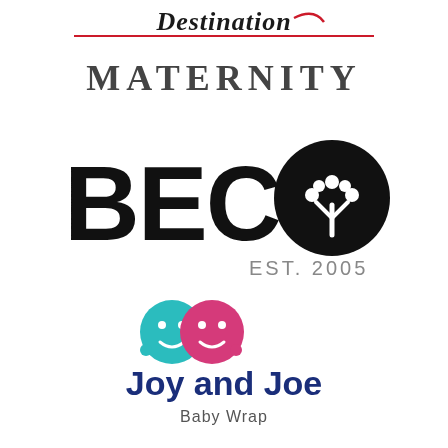[Figure (logo): Maternity brand logo with cursive script text above and 'MATERNITY' in bold serif caps below, with a red underline]
[Figure (logo): BECO logo in bold black letters with a circular black icon replacing the O, containing a white tree/flower motif, and 'EST. 2005' in gray below]
[Figure (logo): Joy and Joe Baby Wrap logo with two circular baby face icons in teal and pink, bold dark blue text 'Joy and Joe' and 'Baby Wrap' below]